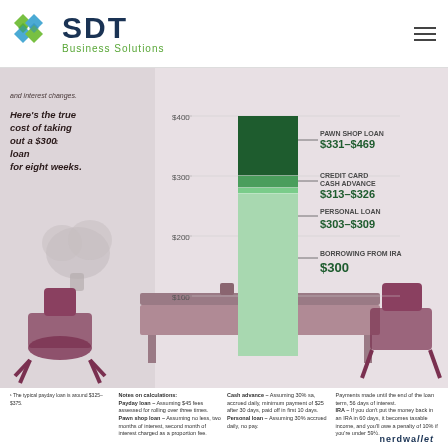[Figure (logo): SDT Business Solutions logo with diamond pattern icon]
[Figure (bar-chart): True cost of taking out a $300 loan for eight weeks]
Here's the true cost of taking out a $300 loan for eight weeks.
Notes on calculations: Payday loan – Assuming $45 fees assessed for rolling over three times. Pawn shop loan – Assuming no less, two months of interest, second month of interest charged as a proportion fee. Cash advance – Assuming 30% sa, accrued daily, minimum payment of $25 after 30 days, paid off in first 10 days. Personal loan – Assuming 30% accrued daily, no pay. IRA – If you don't put the money back in an IRA in 60 days, it becomes taxable income, and you'll owe a penalty of 10% if you're under 59.